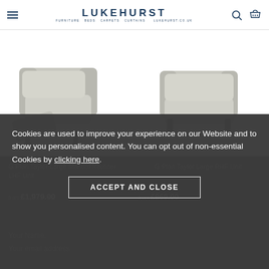LUKEHURST — FURNITURE. BEDS. CARPETS. CURTAINS. lukehurst.co.uk
[Figure (photo): G Plan Taylor Large Manual Recliner LHF Unit — grey fabric recliner chair shown in reclined position]
[Figure (photo): G Plan Taylor Large RHF Unit — grey fabric armchair shown upright]
G Plan Taylor Large Manual Recliner LHF Unit
from £1,979.00
G Plan Taylor Large RHF Unit
from £869.00
Cookies are used to improve your experience on our Website and to show you personalised content. You can opt out of non-essential Cookies by clicking here.
ACCEPT AND CLOSE
Your Name:
Your email address